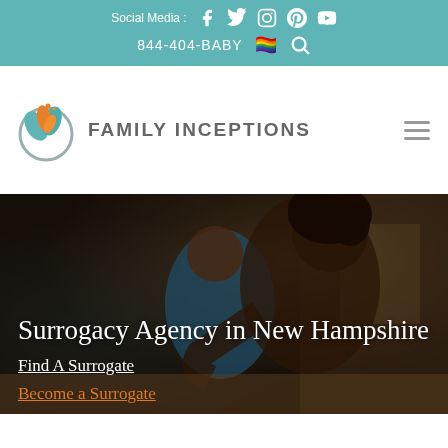Social Media : [Facebook] [Twitter] [Instagram] [Pinterest] [YouTube] | 844-404-BABY [rainbow flag] [search]
[Figure (logo): Family Inceptions logo with leaf/flame icon and text 'FAMILY INCEPTIONS']
[Figure (photo): A woman with curly hair leaning over a child in a kitchen setting, warm tones]
Surrogacy Agency in New Hampshire
Find A Surrogate
Become a Surrogate